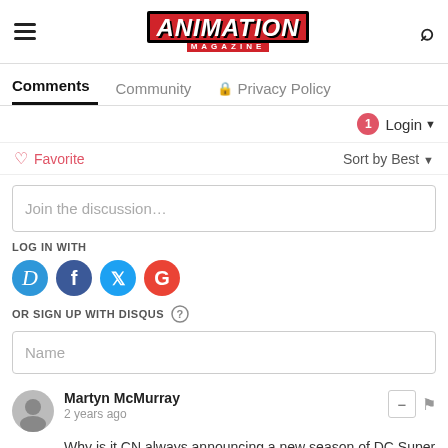Animation Magazine
Comments | Community | Privacy Policy
Login ▾
♡ Favorite   Sort by Best ▾
Join the discussion...
LOG IN WITH
[Figure (other): Social login icons: Disqus (D), Facebook (f), Twitter bird, Google (G)]
OR SIGN UP WITH DISQUS ?
Name
Martyn McMurray
2 years ago
Why is it CN always announcing a new season of DC Super H...